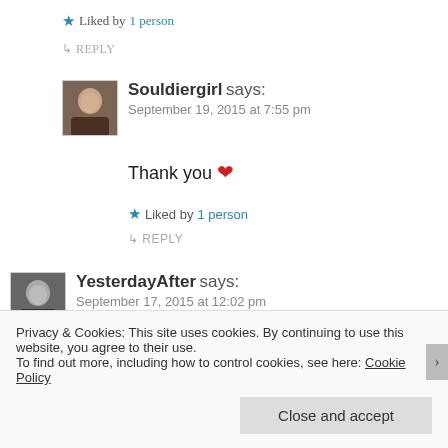★ Liked by 1 person
↳ REPLY
Souldiergirl says:
September 19, 2015 at 7:55 pm
Thank you ❤
★ Liked by 1 person
↳ REPLY
[Figure (photo): Avatar photo of YesterdayAfter commenter]
YesterdayAfter says:
September 17, 2015 at 12:02 pm
Well done sister! I like the quotes you choose...<3
Privacy & Cookies: This site uses cookies. By continuing to use this website, you agree to their use. To find out more, including how to control cookies, see here: Cookie Policy
Close and accept